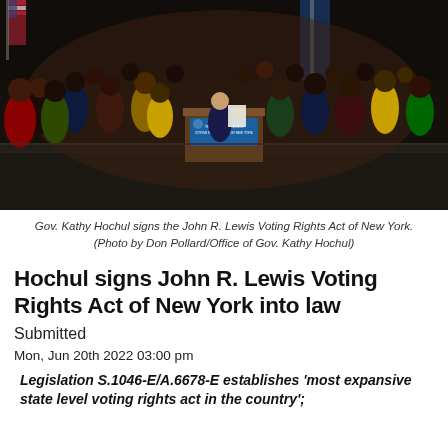[Figure (photo): Gov. Kathy Hochul signing the John R. Lewis Voting Rights Act of New York on stage with a large group of people standing behind her. An American flag and New York State flag are visible in the background. A podium with a sign reading 'The John R. Lewis Voting Rights Act for New York' is in front.]
Gov. Kathy Hochul signs the John R. Lewis Voting Rights Act of New York. (Photo by Don Pollard/Office of Gov. Kathy Hochul)
Hochul signs John R. Lewis Voting Rights Act of New York into law
Submitted
Mon, Jun 20th 2022 03:00 pm
Legislation S.1046-E/A.6678-E establishes 'most expansive state level voting rights act in the country';